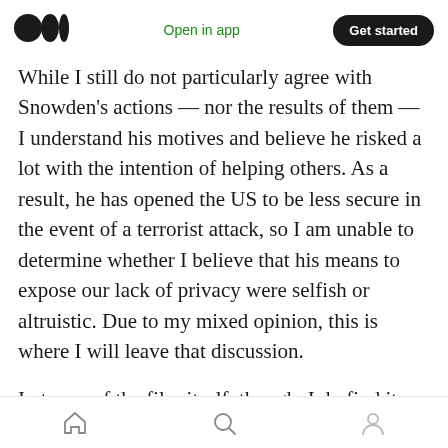Medium logo | Open in app | Get started
While I still do not particularly agree with Snowden's actions — nor the results of them — I understand his motives and believe he risked a lot with the intention of helping others. As a result, he has opened the US to be less secure in the event of a terrorist attack, so I am unable to determine whether I believe that his means to expose our lack of privacy were selfish or altruistic. Due to my mixed opinion, this is where I will leave that discussion.
In terms of the film itself, though, I do find it interesting that Laura Poitras was able to
Home | Search | Profile